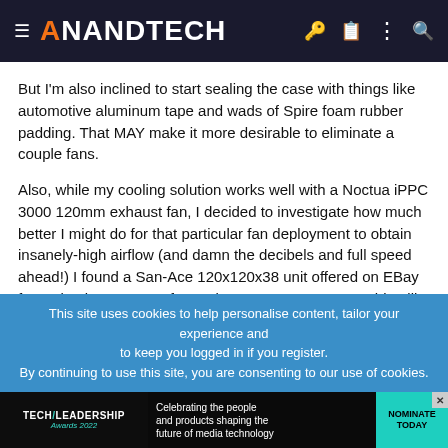AnandTech
But I'm also inclined to start sealing the case with things like automotive aluminum tape and wads of Spire foam rubber padding. That MAY make it more desirable to eliminate a couple fans.
Also, while my cooling solution works well with a Noctua iPPC 3000 120mm exhaust fan, I decided to investigate how much better I might do for that particular fan deployment to obtain insanely-high airflow (and damn the decibels and full speed ahead!) I found a San-Ace 120x120x38 unit offered on EBay for 10 bucks – a PWM fan no less. 6,300 RPM! something like 250 CFM in the spec.
Remember the 92mm Vantec Tornado? I just couldn't contain my curiosity for $10 . . . .
This site uses cookies to help personalise content, tailor your experience and to keep you logged in if you register.
By continuing to use this site, you are consenting to our use of cookies.
[Figure (infographic): Tech Leadership Awards 2022 advertisement banner: Celebrating the people and products shaping the future of media technology. Nominate Today button.]